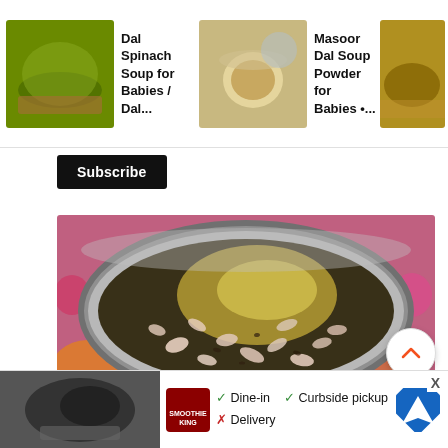[Figure (screenshot): Top recommended video thumbnails bar showing three cooking/food videos: 'Dal Spinach Soup for Babies / Dal...', 'Masoor Dal Soup Powder for Babies •...', and 'Dal Soup f... Babies']
Dal Spinach Soup for Babies / Dal...
Masoor Dal Soup Powder for Babies •...
Dal Soup f Babies
Subscribe
[Figure (photo): Overhead view of a steel pressure cooker pot with sautéed chopped onions and spices inside, placed on a floral patterned surface.]
saute for a min
[Figure (screenshot): Bottom advertisement strip showing a restaurant/food service ad with Smoothie King branding, checkmarks for Dine-in and Curbside pickup, X for Delivery, and a blue diamond navigation arrow logo.]
✓ Dine-in   ✓ Curbside pickup
✗ Delivery